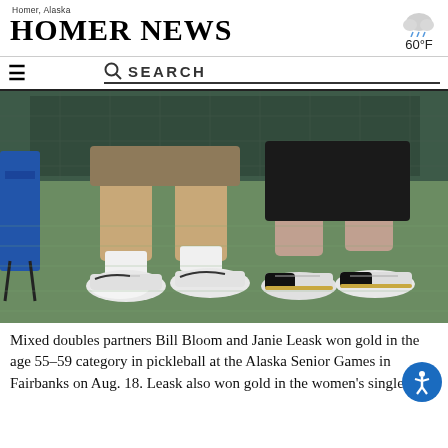Homer, Alaska — HOMER NEWS — 60°F
[Figure (photo): Two people standing on a green pickleball court showing only their legs and athletic shoes — one in tan shorts, one in black capris — both wearing white athletic shoes with white socks.]
Mixed doubles partners Bill Bloom and Janie Leask won gold in the age 55-59 category in pickleball at the Alaska Senior Games in Fairbanks on Aug. 18. Leask also won gold in the women's singles age